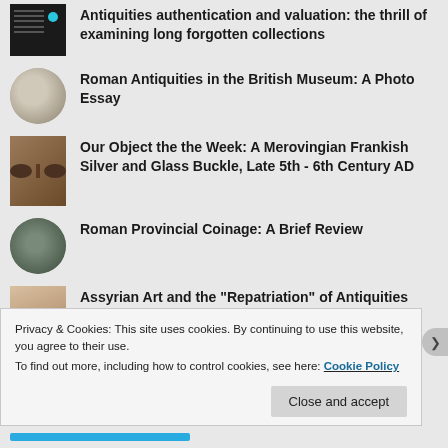Antiquities authentication and valuation: the thrill of examining long forgotten collections
Roman Antiquities in the British Museum: A Photo Essay
Our Object the the Week: A Merovingian Frankish Silver and Glass Buckle, Late 5th - 6th Century AD
Roman Provincial Coinage: A Brief Review
Assyrian Art and the "Repatriation" of Antiquities
Privacy & Cookies: This site uses cookies. By continuing to use this website, you agree to their use.
To find out more, including how to control cookies, see here: Cookie Policy